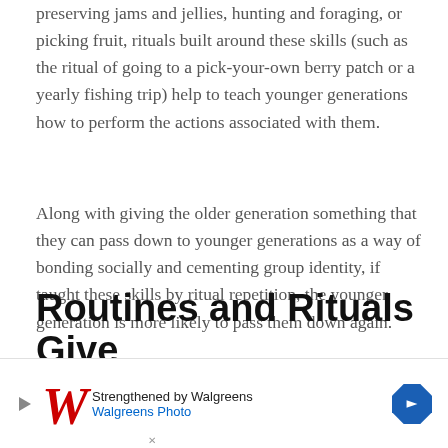preserving jams and jellies, hunting and foraging, or picking fruit, rituals built around these skills (such as the ritual of going to a pick-your-own berry patch or a yearly fishing trip) help to teach younger generations how to perform the actions associated with them.
Along with giving the older generation something that they can pass down to younger generations as a way of bonding socially and cementing group identity, if taught these skills by ritual repetition, the younger generation is more likely to pass them down again.
Routines and Rituals Give
[Figure (other): Walgreens advertisement banner: Walgreens logo with red cursive W, text 'Strengthened by Walgreens' and 'Walgreens Photo' in blue, with a blue diamond-shaped navigation arrow icon on the right.]